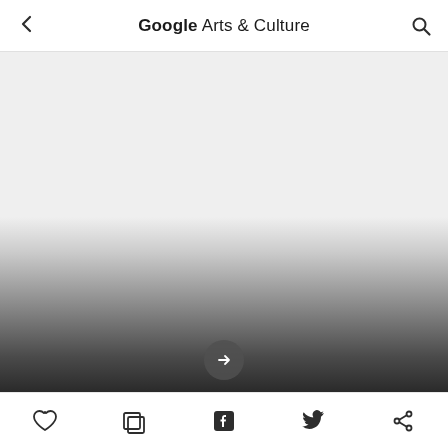← Google Arts & Culture 🔍
[Figure (photo): Light gray content area with dark gradient fading to near-black at the bottom, suggesting a loading or transitional state in the Google Arts & Culture app. A circular expand/play button is partially visible at the very bottom of the image area.]
♡  [image icon]  [Facebook icon]  [Twitter icon]  [share icon]